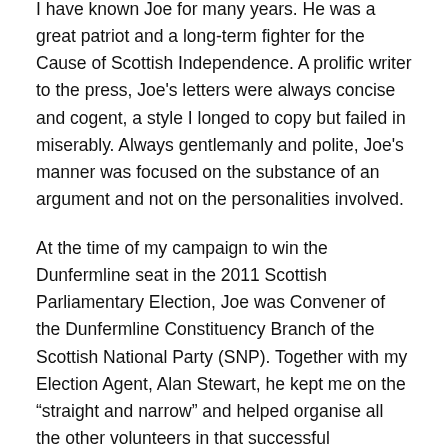I have known Joe for many years.  He was a great patriot and a long-term fighter for the Cause of Scottish Independence.  A prolific writer to the press, Joe's letters were always concise and cogent, a style I longed to copy but failed in miserably.  Always gentlemanly and polite, Joe's manner was focused on the substance of an argument and not on the personalities involved.
At the time of my campaign to win the Dunfermline seat in the 2011 Scottish Parliamentary Election, Joe was Convener of  the Dunfermline Constituency Branch of the Scottish National Party (SNP).  Together with my Election Agent, Alan Stewart, he kept me on the “straight and narrow” and helped organise all the other volunteers in that successful campaign.
After my resignation from Parliament in September 2013, Joe and his wife, Joellen, were very supportive and helpful